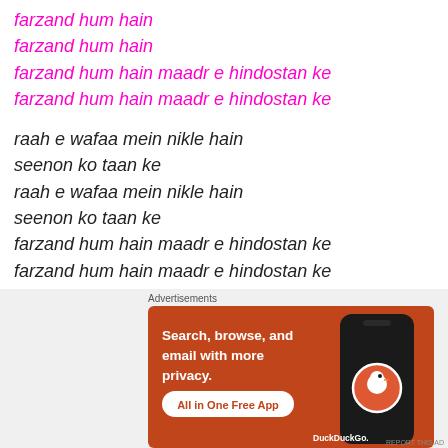farzand hum hain
farzand hum hain
farzand hum hain maadr e hindostan ke
farzand hum hain maadr e hindostan ke
raah e wafaa mein nikle hain
seenon ko taan ke
raah e wafaa mein nikle hain
seenon ko taan ke
farzand hum hain maadr e hindostan ke
farzand hum hain maadr e hindostan ke
farzand hum hain maadr e hindostan ke
[Figure (screenshot): DuckDuckGo advertisement banner with orange background showing 'Search, browse, and email with more privacy. All in One Free App' with a phone graphic and DuckDuckGo logo]